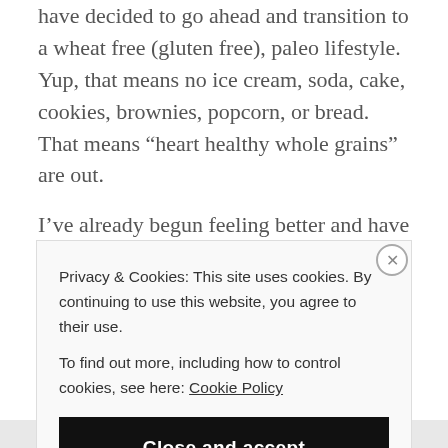have decided to go ahead and transition to a wheat free (gluten free), paleo lifestyle. Yup, that means no ice cream, soda, cake, cookies, brownies, popcorn, or bread. That means “heart healthy whole grains” are out.
I’ve already begun feeling better and have started to experiment with different recipes!
Privacy & Cookies: This site uses cookies. By continuing to use this website, you agree to their use.
To find out more, including how to control cookies, see here: Cookie Policy
Close and accept